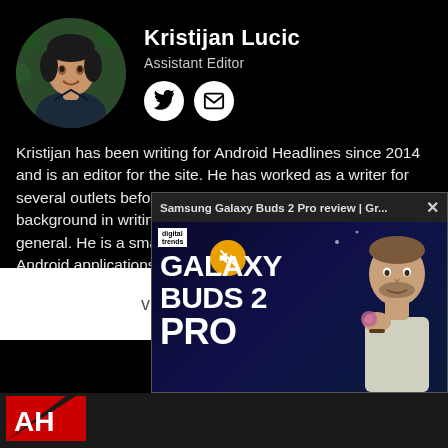[Figure (photo): Circular avatar photo of Kristijan Lucic, a man with dark hair wearing a dark t-shirt, photographed outdoors with green foliage in background]
Kristijan Lucic
Assistant Editor
[Figure (infographic): Two circular white social icons: Twitter bird icon and email envelope icon]
Kristijan has been writing for Android Headlines since 2014 and is an editor for the site. He has worked as a writer for several outlets before joining Android Headlines, and has a background in writing about Android and technology in general. He is a smartphone enthusiast that specializes in Android applications, and that platform in general. Contact him at kristijan.lucic@androidheadlines.com
[Figure (screenshot): Video popup overlay showing Samsung Galaxy Buds 2 Pro review video thumbnail with large bold text GALAXY BUDS 2 PRO and a man holding a small purple earbud, with digital trends logo and mute button visible. Title bar reads: Samsung Galaxy Buds 2 Pro review | Gr...]
[Figure (logo): Android Headlines AH logo in red and white at the bottom left]